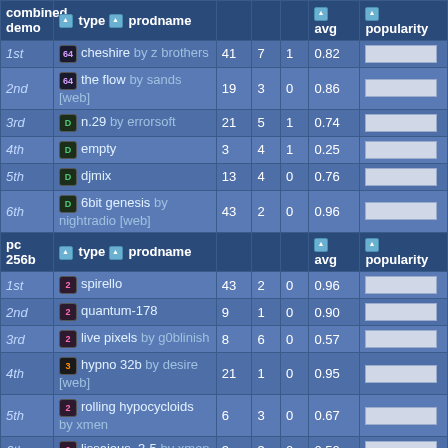| combined demo | type / prodname |  |  |  | avg | popularity |
| --- | --- | --- | --- | --- | --- | --- |
| 1st | [64] cheshire by z brothers | 41 | 7 | 1 | 0.82 |  |
| 2nd | [64] the flow by sands [web] | 19 | 3 | 0 | 0.86 |  |
| 3rd | [D] n.29 by errorsoft | 21 | 5 | 1 | 0.74 |  |
| 4th | [D] empty | 3 | 4 | 1 | 0.25 |  |
| 5th | [D] djmix | 13 | 4 | 0 | 0.76 |  |
| 6th | [D] 6bit genesis by nightradio [web] | 43 | 2 | 0 | 0.96 |  |
| pc 256b | type / prodname |  |  |  | avg | popularity |
| 1st | [2] spirello | 43 | 2 | 0 | 0.96 |  |
| 2nd | [2] quantum-178 | 9 | 1 | 0 | 0.90 |  |
| 3rd | [2] live pixels by g0blinish | 8 | 6 | 0 | 0.57 |  |
| 4th | [3] hypno 32b by desire [web] | 21 | 1 | 0 | 0.95 |  |
| 5th | [2] rolling hypocycloids by xmen | 6 | 3 | 0 | 0.67 |  |
| 6th | [2] lissajous_3-5 by xmen | 3 | 3 | 0 | 0.50 |  |
| 7th | [2] rose in | 2 | 3 | 0 | 0.49 |  |